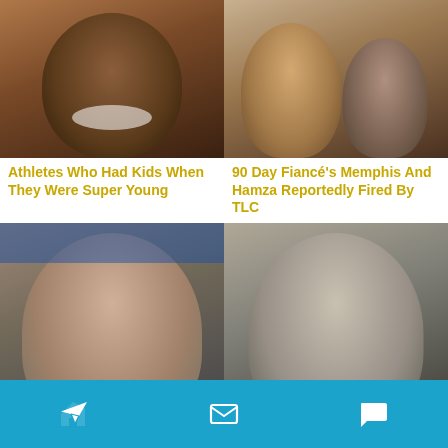[Figure (photo): Close-up photo of a Black male athlete smiling with a beard]
Athletes Who Had Kids When They Were Super Young
[Figure (photo): Photo of a couple, woman and man smiling together]
90 Day Fiancé's Memphis And Hamza Reportedly Fired By TLC
[Figure (photo): Close-up photo of a middle-aged white male TV personality looking serious]
[Figure (photo): Close-up photo of an older white male with grey hair looking serious]